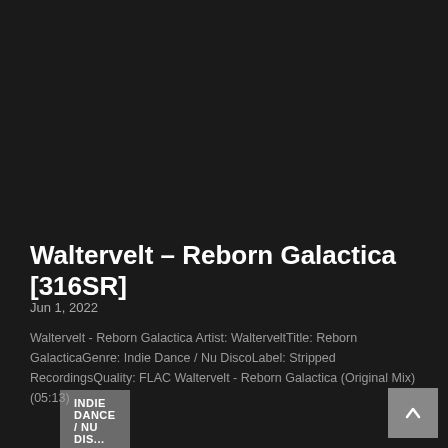INDIE DANCE / NU DIS...
Waltervelt – Reborn Galactica [316SR]
Jun 1, 2022
Waltervelt - Reborn Galactica Artist: WalterveltTitle: Reborn GalacticaGenre: Indie Dance / Nu DiscoLabel: Stripped RecordingsQuality: FLAC Waltervelt - Reborn Galactica (Original Mix) (05:13)
READ MORE...